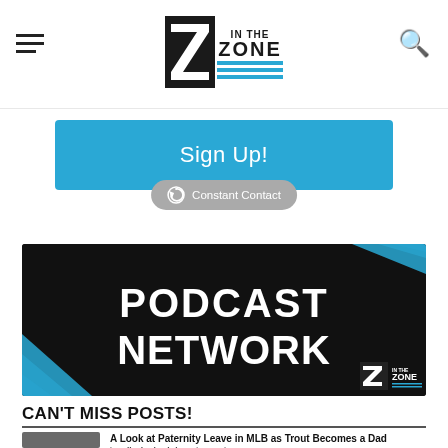In The Zone logo, hamburger menu, search icon
Sign Up!
[Figure (logo): Constant Contact badge/button with circular arrow icon]
[Figure (illustration): Podcast Network banner image: black background with cyan diagonal stripe accents, bold white text 'PODCAST NETWORK', Z In The Zone logo bottom right]
CAN'T MISS POSTS!
A Look at Paternity Leave in MLB as Trout Becomes a Dad by Elizabeth DiPietro | posted on August 5, 2020